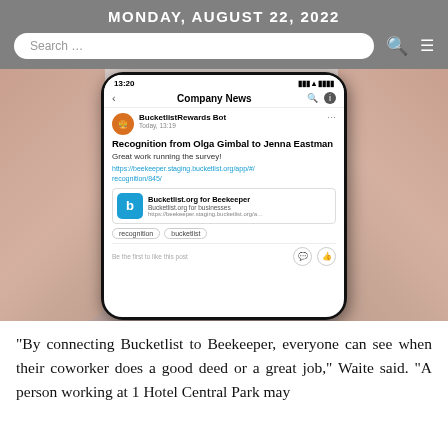MONDAY, AUGUST 22, 2022
[Figure (screenshot): A hand holding a smartphone showing the Beekeeper app with a Company News post from BucketlistRewards Bot dated Today, 13:19. The post reads: 'Recognition from Olga Gimbal to Jenna Eastman - Great work running the survey!' with a link https://beekeeper.staging.bucketlist.org/app/#/recognition/845/ and tags 'recognition' and 'bucketlist'.]
"By connecting Bucketlist to Beekeeper, everyone can see when their coworker does a good deed or a great job," Waite said. "A person working at 1 Hotel Central Park may